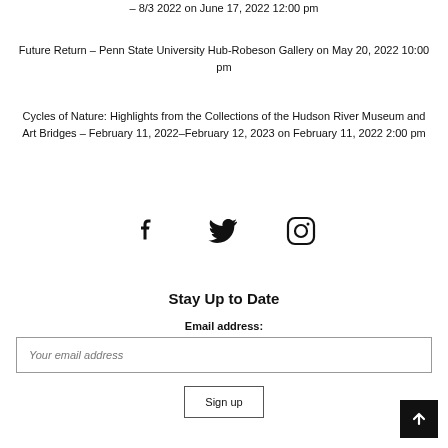– 8/3 2022 on June 17, 2022 12:00 pm
Future Return – Penn State University Hub-Robeson Gallery on May 20, 2022 10:00 pm
Cycles of Nature: Highlights from the Collections of the Hudson River Museum and Art Bridges – February 11, 2022–February 12, 2023 on February 11, 2022 2:00 pm
[Figure (other): Social media icons: Facebook, Twitter, Instagram]
Stay Up to Date
Email address:
Your email address
Sign up